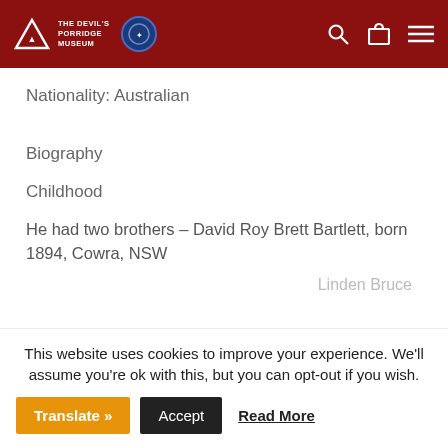THE DEVIL'S PORRIDGE MUSEUM
Nationality: Australian
Biography
Childhood
He had two brothers – David Roy Brett Bartlett, born 1894, Cowra, NSW
Linden Bruce
This website uses cookies to improve your experience. We'll assume you're ok with this, but you can opt-out if you wish.